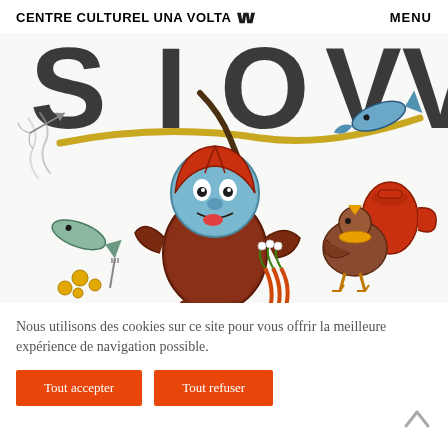CENTRE CULTUREL UNA VOLTA UV   MENU
[Figure (illustration): Colorful comic-style illustration of a fantastical creature — a blue-faced character wearing a red hood/helmet, dressed in brown, holding carrots/flowers, surrounded by a fish on a stick, coins, a chicken, and other whimsical objects on a white background. Large stylized letters visible at the top.]
Nous utilisons des cookies sur ce site pour vous offrir la meilleure expérience de navigation possible.
Tout accepter
Tout refuser